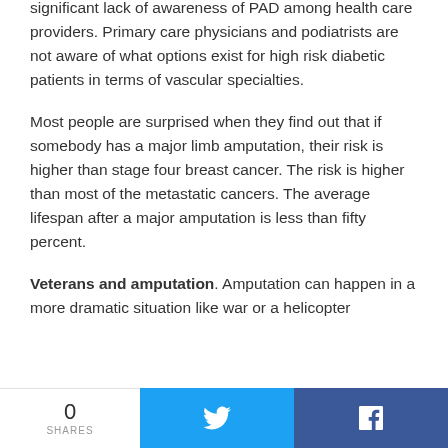significant lack of awareness of PAD among health care providers.  Primary care physicians and podiatrists are not aware of what options exist for high risk diabetic patients in terms of vascular specialties.
Most people are surprised when they find out that if somebody has a major limb amputation, their risk is higher than stage four breast cancer.  The risk is higher than most of the metastatic cancers.  The average lifespan after a major amputation is less than fifty percent.
Veterans and amputation. Amputation can happen in a more dramatic situation like war or a helicopter
0 SHARES